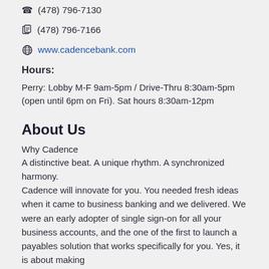(478) 796-7130
(478) 796-7166
www.cadencebank.com
Hours:
Perry: Lobby M-F 9am-5pm / Drive-Thru 8:30am-5pm (open until 6pm on Fri). Sat hours 8:30am-12pm
About Us
Why Cadence
A distinctive beat. A unique rhythm. A synchronized harmony.
Cadence will innovate for you. You needed fresh ideas when it came to business banking and we delivered. We were an early adopter of single sign-on for all your business accounts, and the one of the first to launch a payables solution that works specifically for you. Yes, it is about making